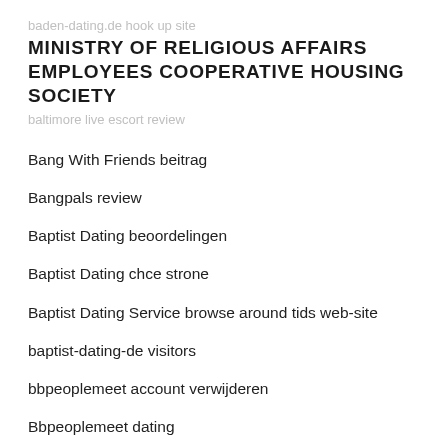baden-dating.de hook up site
MINISTRY OF RELIGIOUS AFFAIRS EMPLOYEES COOPERATIVE HOUSING SOCIETY
baltimore live escort review
Bang With Friends beitrag
Bangpals review
Baptist Dating beoordelingen
Baptist Dating chce strone
Baptist Dating Service browse around tids web-site
baptist-dating-de visitors
bbpeoplemeet account verwijderen
Bbpeoplemeet dating
bbpeoplemeet promotiecode
BBPeopleMeet reviews